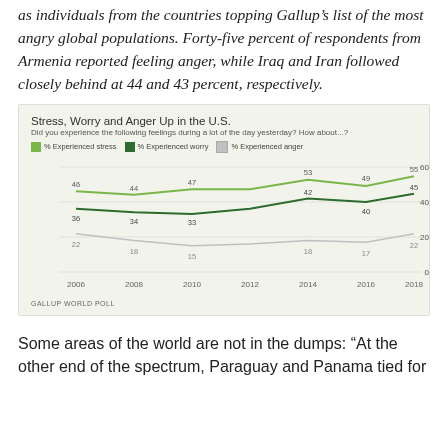as individuals from the countries topping Gallup's list of the most angry global populations. Forty-five percent of respondents from Armenia reported feeling anger, while Iraq and Iran followed closely behind at 44 and 43 percent, respectively.
[Figure (line-chart): Stress, Worry and Anger Up in the U.S.]
Some areas of the world are not in the dumps: “At the other end of the spectrum, Paraguay and Panama tied for